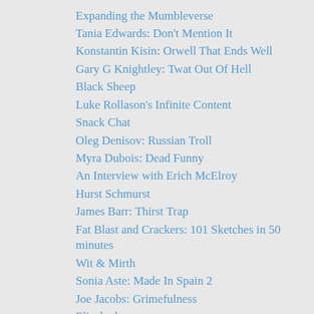Expanding the Mumbleverse
Tania Edwards: Don't Mention It
Konstantin Kisin: Orwell That Ends Well
Gary G Knightley: Twat Out Of Hell
Black Sheep
Luke Rollason's Infinite Content
Snack Chat
Oleg Denisov: Russian Troll
Myra Dubois: Dead Funny
An Interview with Erich McElroy
Hurst Schmurst
James Barr: Thirst Trap
Fat Blast and Crackers: 101 Sketches in 50 minutes
Wit & Mirth
Sonia Aste: Made In Spain 2
Joe Jacobs: Grimefulness
Elizabethan
Troy Hawke: Tiles of the Unexpected
An Interview with Scribbling Ape
Privates: A Sperm Odyssey